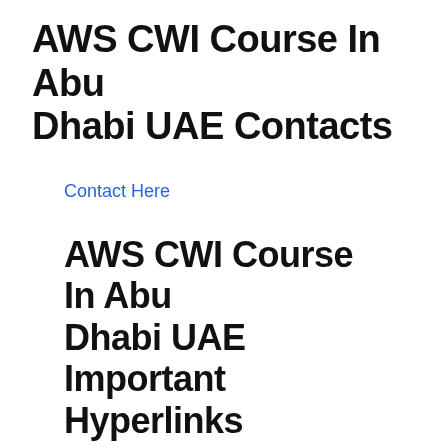AWS CWI Course In Abu Dhabi UAE Contacts
Contact Here
AWS CWI Course In Abu Dhabi UAE Important Hyperlinks
For More Details
Table of Contents
1. AWS CWI Course In Abu Dhabi UAE